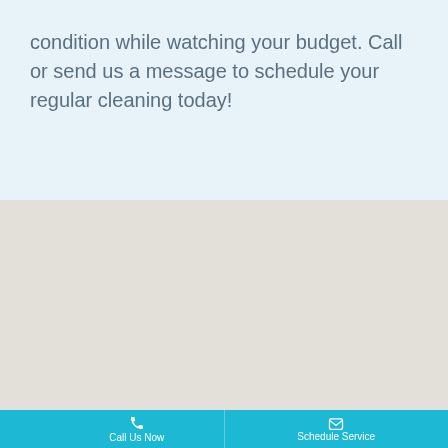condition while watching your budget. Call or send us a message to schedule your regular cleaning today!
Carpet Cleaned using Zerorez® Zr Clean™
[Figure (photo): Photograph of cleaned carpet with a circular ring/tile visible at the bottom edge]
Call Us Now   Schedule Service